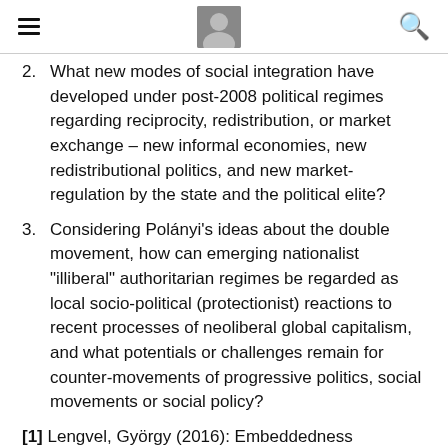hamburger menu | avatar photo | search icon
2. What new modes of social integration have developed under post-2008 political regimes regarding reciprocity, redistribution, or market exchange – new informal economies, new redistributional politics, and new market-regulation by the state and the political elite?
3. Considering Polányi's ideas about the double movement, how can emerging nationalist "illiberal" authoritarian regimes be regarded as local socio-political (protectionist) reactions to recent processes of neoliberal global capitalism, and what potentials or challenges remain for counter-movements of progressive politics, social movements or social policy?
[1] Lengvel, György (2016): Embeddedness